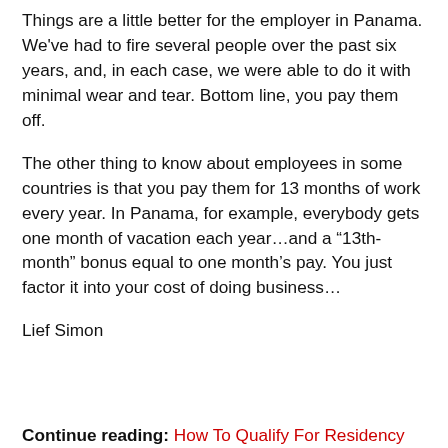Things are a little better for the employer in Panama. We've had to fire several people over the past six years, and, in each case, we were able to do it with minimal wear and tear. Bottom line, you pay them off.
The other thing to know about employees in some countries is that you pay them for 13 months of work every year. In Panama, for example, everybody gets one month of vacation each year…and a “13th-month” bonus equal to one month’s pay. You just factor it into your cost of doing business…
Lief Simon
Continue reading: How To Qualify For Residency